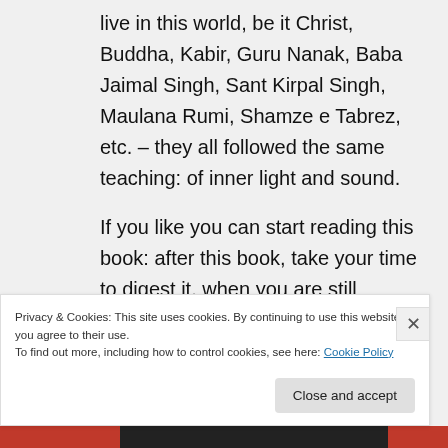live in this world, be it Christ, Buddha, Kabir, Guru Nanak, Baba Jaimal Singh, Sant Kirpal Singh, Maulana Rumi, Shamze e Tabrez, etc. – they all followed the same teaching: of inner light and sound.
If you like you can start reading this book: after this book, take your time to digest it, when you are still interested I will send more books suggestions what to read (you will learn a lot and will progress on the path
Privacy & Cookies: This site uses cookies. By continuing to use this website, you agree to their use.
To find out more, including how to control cookies, see here: Cookie Policy